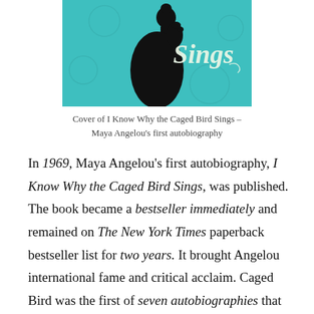[Figure (illustration): Book cover of I Know Why the Caged Bird Sings showing a woman's silhouette in black against a teal/turquoise background with the word 'Sings' visible in decorative script lettering]
Cover of I Know Why the Caged Bird Sings – Maya Angelou's first autobiography
In 1969, Maya Angelou's first autobiography, I Know Why the Caged Bird Sings, was published. The book became a bestseller immediately and remained on The New York Times paperback bestseller list for two years. It brought Angelou international fame and critical acclaim. Caged Bird was the first of seven autobiographies that Angelou would write